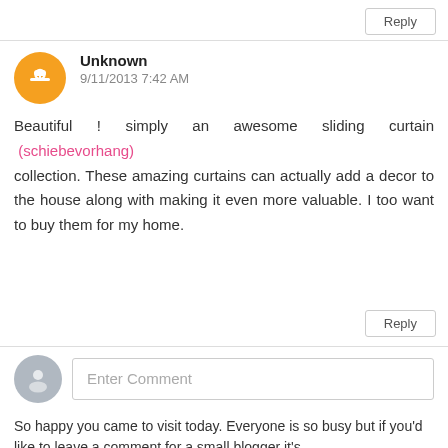Reply
Unknown
9/11/2013 7:42 AM
Beautiful ! simply an awesome sliding curtain (schiebevorhang) collection. These amazing curtains can actually add a decor to the house along with making it even more valuable. I too want to buy them for my home.
Reply
Enter Comment
So happy you came to visit today. Everyone is so busy but if you'd like to leave a comment for a small blogger it's ...